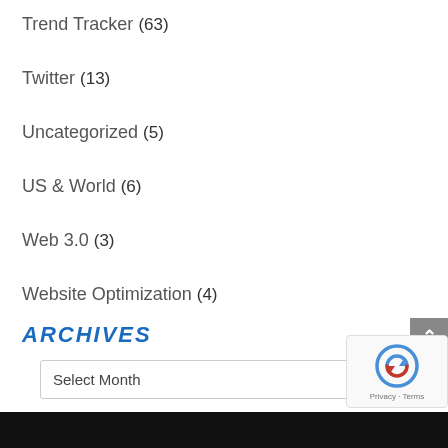Trend Tracker (63)
Twitter (13)
Uncategorized (5)
US & World (6)
Web 3.0 (3)
Website Optimization (4)
ARCHIVES
Select Month